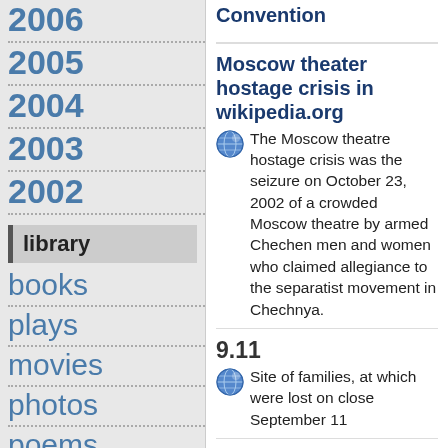2006
2005
2004
2003
2002
library
books
plays
movies
photos
poems
Convention
Moscow theater hostage crisis in wikipedia.org
The Moscow theatre hostage crisis was the seizure on October 23, 2002 of a crowded Moscow theatre by armed Chechen men and women who claimed allegiance to the separatist movement in Chechnya.
9.11
Site of families, at which were lost on close September 11
Journalists Memorial
The Journalists Memorial, located in the Newseum in Washington, D.C., pays tribute to reporters, photographers